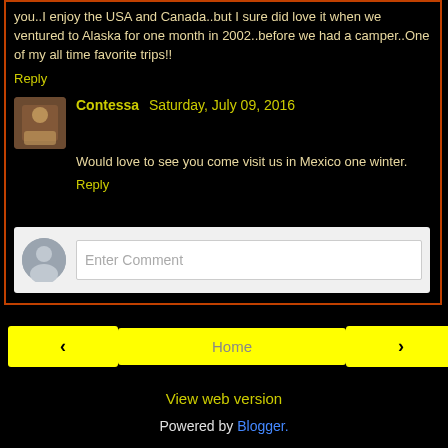you..I enjoy the USA and Canada..but I sure did love it when we ventured to Alaska for one month in 2002..before we had a camper..One of my all time favorite trips!!
Reply
Contessa   Saturday, July 09, 2016
Would love to see you come visit us in Mexico one winter.
Reply
[Figure (other): Enter Comment input box with gray user avatar icon]
‹
Home
›
View web version
Powered by Blogger.